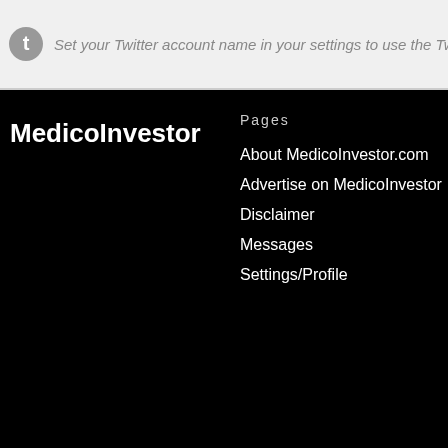Set your Twitter account name in your settings to use the TwitterBar
MedicoInvestor
Pages
About MedicoInvestor.com
Advertise on MedicoInvestor
Disclaimer
Messages
Settings/Profile